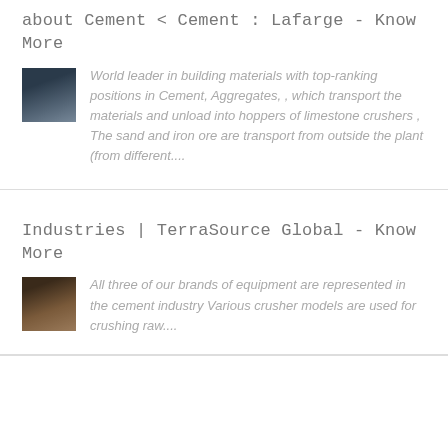about Cement < Cement : Lafarge - Know More
[Figure (photo): Small thumbnail image showing a dark industrial/cement scene]
World leader in building materials with top-ranking positions in Cement, Aggregates, , which transport the materials and unload into hoppers of limestone crushers , The sand and iron ore are transport from outside the plant (from different....
Industries | TerraSource Global - Know More
[Figure (photo): Small thumbnail image showing an industrial machinery/equipment scene]
All three of our brands of equipment are represented in the cement industry Various crusher models are used for crushing raw....